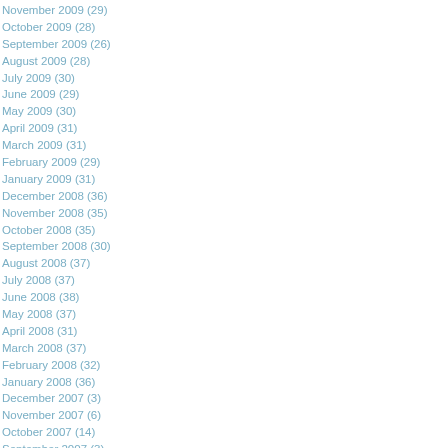November 2009 (29)
October 2009 (28)
September 2009 (26)
August 2009 (28)
July 2009 (30)
June 2009 (29)
May 2009 (30)
April 2009 (31)
March 2009 (31)
February 2009 (29)
January 2009 (31)
December 2008 (36)
November 2008 (35)
October 2008 (35)
September 2008 (30)
August 2008 (37)
July 2008 (37)
June 2008 (38)
May 2008 (37)
April 2008 (31)
March 2008 (37)
February 2008 (32)
January 2008 (36)
December 2007 (3)
November 2007 (6)
October 2007 (14)
September 2007 (3)
August 2007 (12)